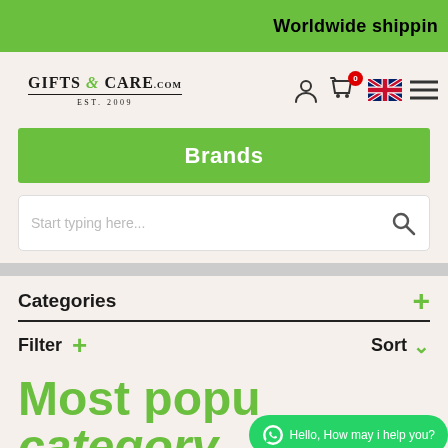Worldwide shippin
[Figure (logo): Gifts & Care .com EST.2009 logo]
[Figure (infographic): Navigation icons: user, cart (0), UK flag, menu]
Brands
Start typing here...
Categories
Filter    Sort
Most popu… category
Hello, How may i help you?